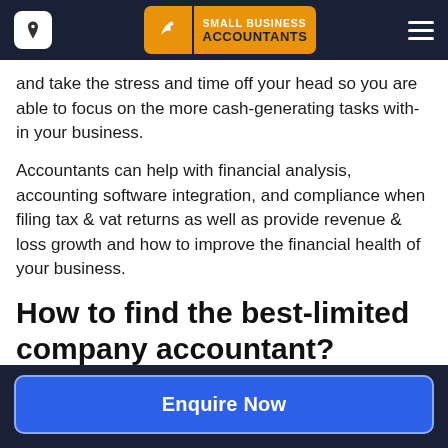Small Business Accountants
and take the stress and time off your head so you are able to focus on the more cash-generating tasks with-in your business.
Accountants can help with financial analysis, accounting software integration, and compliance when filing tax & vat returns as well as provide revenue & loss growth and how to improve the financial health of your business.
How to find the best-limited company accountant?
Enquire Now